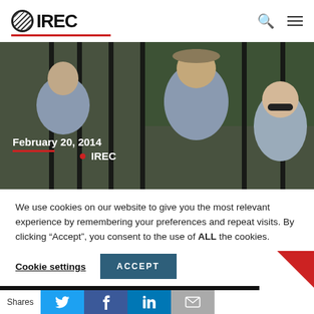IREC
[Figure (photo): Photo of three people near a metal fence outdoors. Date label reads February 20, 2014 with IREC tag.]
We use cookies on our website to give you the most relevant experience by remembering your preferences and repeat visits. By clicking “Accept”, you consent to the use of ALL the cookies.
Cookie settings   ACCEPT
Fe Community College
Shares